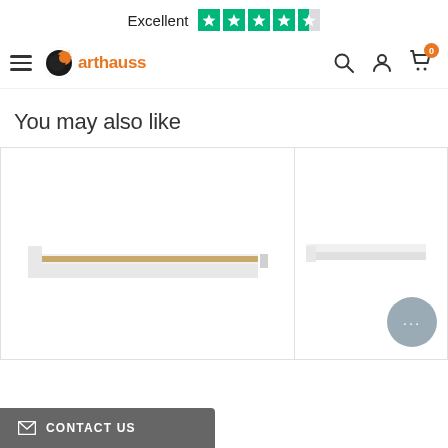[Figure (logo): Trustpilot Excellent rating with 4.5 green stars and text 'Excellent']
[Figure (logo): Arthauss furniture store logo with orange and black globe icon and orange brand name]
You may also like
[Figure (photo): White wall shelf with oak wood accent, product thumbnail for furniture item]
[Figure (photo): White wall shelf product thumbnail, partially visible]
CONTACT US